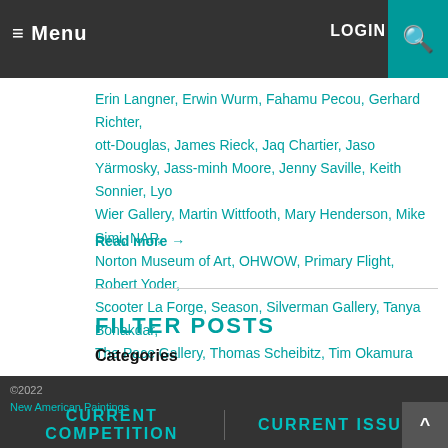≡ Menu | LOGIN | 🔍
Erin Langner, Erwin Wurm, Fahamu Pecou, Gerhard Richter, ott-Douglas, James Rieck, Jaq Chartier, Jaso Yärmosky, Jass-minh Moore, Jenny Saville, Keith Sonnier, Lyo Wier Gallery, Martin Wittfooth, Mary Henderson, Mike Simi, NAP, Norton Museum of Art, OHWOW, Primary Flight, Robert Yoder, Scooter La Forge, Season, Silverman Gallery, Tanya Bonakdar, The Pace Gallery, Thomas Scheibitz, Tim Okamura
Read more →
FILTER POSTS
Categories
Alabama
Art Fairs
Art Market
Art World
Atlanta
Austin
Behind the Scenes
© 2022 New American Paintings | CURRENT COMPETITION | CURRENT ISSUE | ^